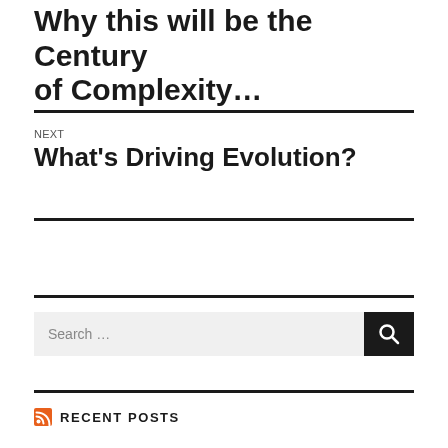Why this will be the Century of Complexity...
NEXT
What's Driving Evolution?
Search ...
RECENT POSTS